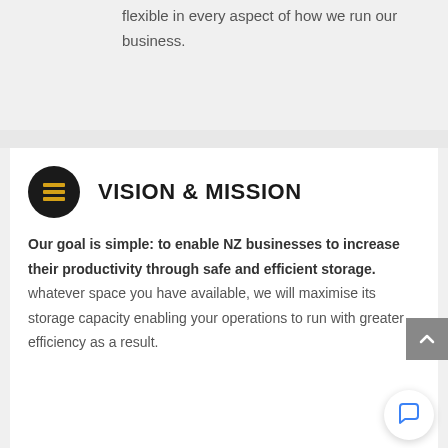flexible in every aspect of how we run our business.
VISION & MISSION
Our goal is simple: to enable NZ businesses to increase their productivity through safe and efficient storage. whatever space you have available, we will maximise its storage capacity enabling your operations to run with greater efficiency as a result.